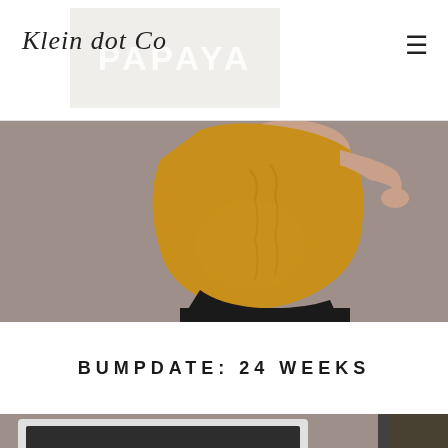Klein dot Co
[Figure (photo): Pregnant woman in mustard yellow ruched dress and black leggings, standing against a taupe/grey wall, showing baby bump in profile. Photo cropped to show torso area.]
BUMPDATE: 24 WEEKS
[Figure (photo): Partial view of a chalkboard sign in a white frame showing week number, with a person visible on the right side. Dark charcoal background with chalk lettering.]